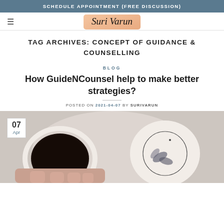SCHEDULE APPOINTMENT (FREE DISCUSSION)
[Figure (logo): Suri Varun logo in italic script on a peach/salmon brushstroke background]
TAG ARCHIVES: CONCEPT OF GUIDANCE & COUNSELLING
BLOG
How GuideNCounsel help to make better strategies?
POSTED ON 2021-04-07 BY SURIVARUN
[Figure (photo): Photo of hands holding a dark coffee cup with a decorative plate featuring a circular botanical/moon illustration on a light background. Date badge shows 07 Apr.]